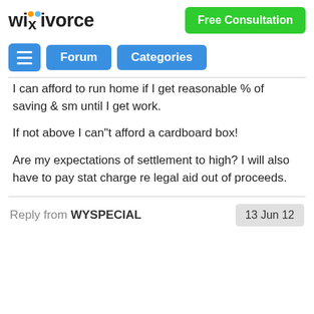wikivorce | Free Consultation | Forum | Categories
I can afford to run home if I get reasonable % of saving & sm until I get work.
If not above I can"t afford a cardboard box!
Are my expectations of settlement to high? I will also have to pay stat charge re legal aid out of proceeds.
Reply from WYSPECIAL | 13 Jun 12